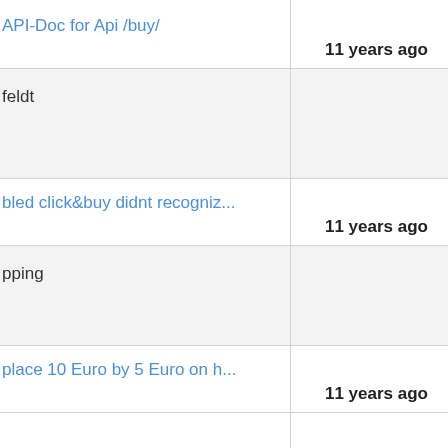API-Doc for Api /buy/
11 years ago
feldt
bled click&buy didnt recogniz...
11 years ago
pping
place 10 Euro by 5 Euro on h...
11 years ago